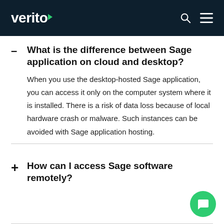verito
What is the difference between Sage application on cloud and desktop?
When you use the desktop-hosted Sage application, you can access it only on the computer system where it is installed. There is a risk of data loss because of local hardware crash or malware. Such instances can be avoided with Sage application hosting.
How can I access Sage software remotely?